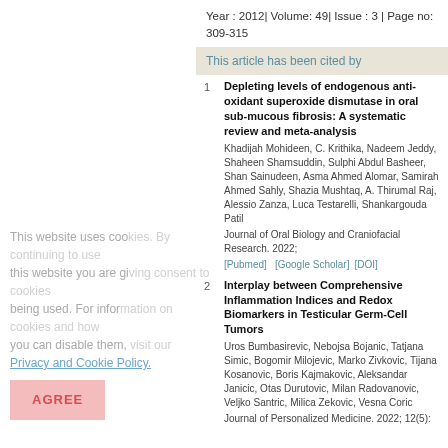Year : 2012| Volume: 49| Issue : 3 | Page no: 309-315
This article has been cited by
1. Depleting levels of endogenous anti-oxidant superoxide dismutase in oral sub-mucous fibrosis: A systematic review and meta-analysis
Khadijah Mohideen, C. Krithika, Nadeem Jeddy, Shaheen Shamsuddin, Sulphi Abdul Basheer, Shan Sainudeen, Asma Ahmed Alomar, Samirah Ahmed Sahly, Shazia Mushtaq, A. Thirumal Raj, Alessio Zanza, Luca Testarelli, Shankargouda Patil
Journal of Oral Biology and Craniofacial Research. 2022;
[Pubmed] [Google Scholar] [DOI]
2. Interplay between Comprehensive Inflammation Indices and Redox Biomarkers in Testicular Germ-Cell Tumors
Uros Bumbasirevic, Nebojsa Bojanic, Tatjana Simic, Bogomir Milojevic, Marko Zivkovic, Tijana Kosanovic, Boris Kajmakovic, Aleksandar Janicic, Otas Durutovic, Milan Radovanovic, Veljko Santric, Milica Zekovic, Vesna Coric
Journal of Personalized Medicine. 2022; 12(5):
This website uses cookies. By continuing to use this website you are giving consent to cookies being used. For information on cookies and how you can disable them, visit our Privacy and Cookie Policy.